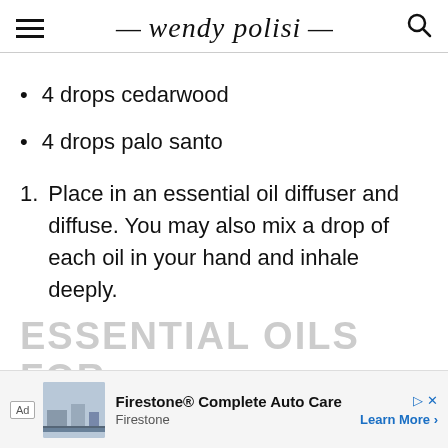wendy polisi
4 drops cedarwood
4 drops palo santo
Place in an essential oil diffuser and diffuse. You may also mix a drop of each oil in your hand and inhale deeply.
ESSENTIAL OILS FOR ALL